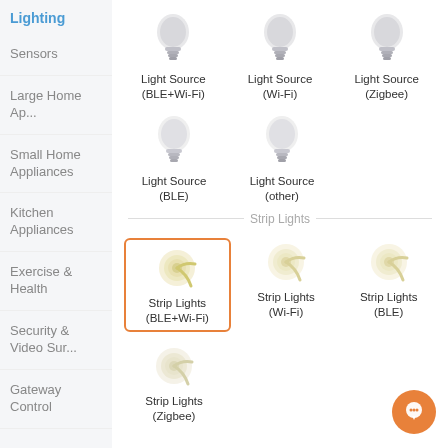Lighting
Sensors
Large Home Ap...
Small Home Appliances
Kitchen Appliances
Exercise & Health
Security & Video Sur...
Gateway Control
[Figure (screenshot): Grid of light bulb icons: Light Source (BLE+Wi-Fi), Light Source (Wi-Fi), Light Source (Zigbee), Light Source (BLE), Light Source (other)]
Strip Lights
[Figure (screenshot): Grid of strip light icons: Strip Lights (BLE+Wi-Fi) selected with orange border, Strip Lights (Wi-Fi), Strip Lights (BLE), Strip Lights (Zigbee)]